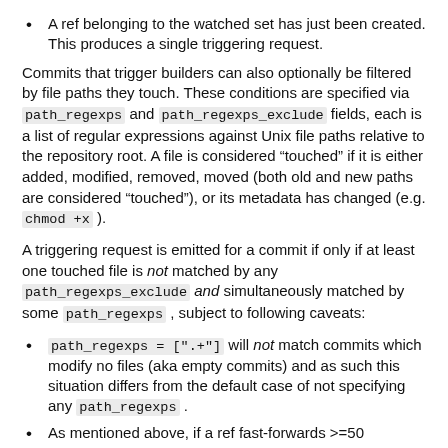A ref belonging to the watched set has just been created. This produces a single triggering request.
Commits that trigger builders can also optionally be filtered by file paths they touch. These conditions are specified via path_regexps and path_regexps_exclude fields, each is a list of regular expressions against Unix file paths relative to the repository root. A file is considered “touched” if it is either added, modified, removed, moved (both old and new paths are considered “touched”), or its metadata has changed (e.g. chmod +x ).
A triggering request is emitted for a commit if only if at least one touched file is not matched by any path_regexps_exclude and simultaneously matched by some path_regexps , subject to following caveats:
path_regexps = [".+"] will not match commits which modify no files (aka empty commits) and as such this situation differs from the default case of not specifying any path_regexps .
As mentioned above, if a ref fast-forwards >=50